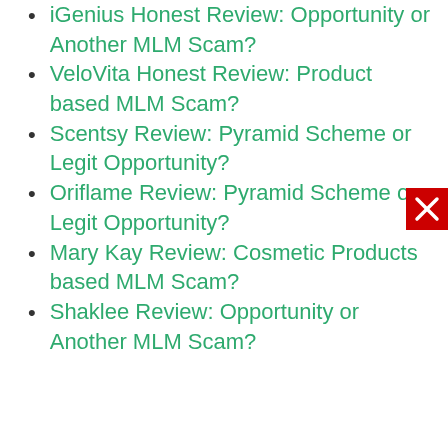iGenius Honest Review: Opportunity or Another MLM Scam?
VeloVita Honest Review: Product based MLM Scam?
Scentsy Review: Pyramid Scheme or Legit Opportunity?
Oriflame Review: Pyramid Scheme or Legit Opportunity?
Mary Kay Review: Cosmetic Products based MLM Scam?
Shaklee Review: Opportunity or Another MLM Scam?